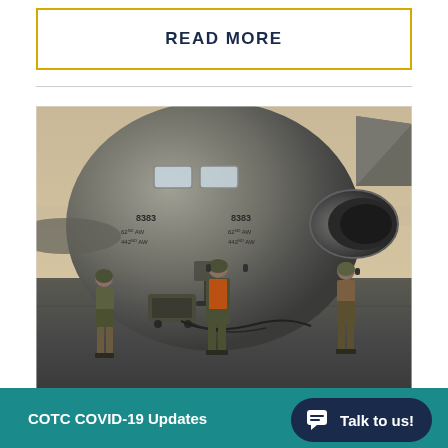READ MORE
[Figure (photo): Military personnel (three soldiers in camouflage uniforms, one wearing an orange safety vest) standing in front of the nose of a large military transport aircraft (C-17 Globemaster) on a tarmac. The aircraft has tail number 8383 and markings '62nd AW 442nd AW'. A jet engine is visible on the right side. Ground support equipment is present.]
COTC COVID-19 Updates